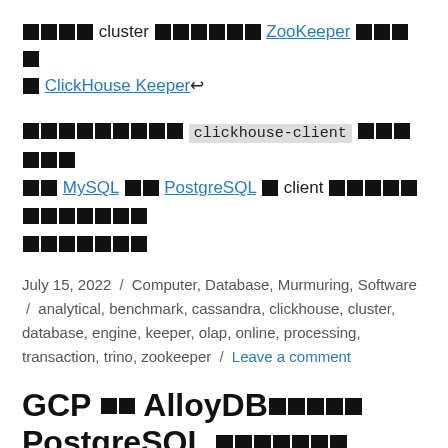❌❌❌❌ cluster ❌❌❌❌❌❌ ZooKeeper ❌❌❌❌ ❌ ClickHouse Keeper↩
❌❌❌❌❌❌❌❌❌ clickhouse-client ❌❌❌❌❌❌ ❌❌ MySQL ❌❌ PostgreSQL ❌ client ❌❌❌❌❌❌❌❌❌❌❌❌ ❌❌❌❌❌❌❌
July 15, 2022 / Computer, Database, Murmuring, Software / analytical, benchmark, cassandra, clickhouse, cluster, database, engine, keeper, olap, online, processing, transaction, trino, zookeeper / Leave a comment
GCP ❌❌ AlloyDB❌❌❌❌❌ PostgreSQL ❌❌❌❌❌❌❌
❌❌❌ PostgreSQL ❌❌❌❌❌❌❌❌❌❌❌❌❌